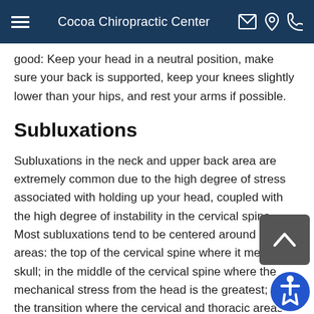Cocoa Chiropractic Center
good: Keep your head in a neutral position, make sure your back is supported, keep your knees slightly lower than your hips, and rest your arms if possible.
Subluxations
Subluxations in the neck and upper back area are extremely common due to the high degree of stress associated with holding up your head, coupled with the high degree of instability in the cervical spine. Most subluxations tend to be centered around four areas: the top of the cervical spine where it meets the skull; in the middle of the cervical spine where the mechanical stress from the head is the greatest; in the transition where the cervical and thoracic areas of the spine meet; and in the middle of the thoracic spine where the mechanical stress from the weight of the upper body is greatest. Signs of